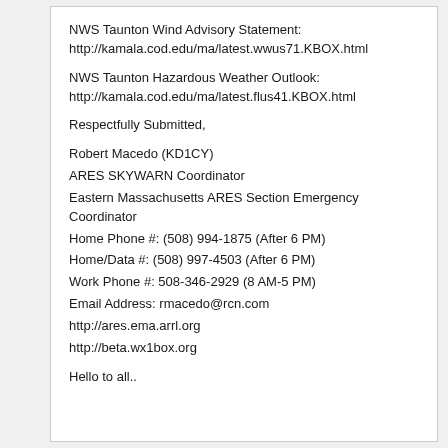NWS Taunton Wind Advisory Statement:
http://kamala.cod.edu/ma/latest.wwus71.KBOX.html
NWS Taunton Hazardous Weather Outlook:
http://kamala.cod.edu/ma/latest.flus41.KBOX.html
Respectfully Submitted,
Robert Macedo (KD1CY)
ARES SKYWARN Coordinator
Eastern Massachusetts ARES Section Emergency Coordinator
Home Phone #: (508) 994-1875 (After 6 PM)
Home/Data #: (508) 997-4503 (After 6 PM)
Work Phone #: 508-346-2929 (8 AM-5 PM)
Email Address: rmacedo@rcn.com
http://ares.ema.arrl.org
http://beta.wx1box.org
Hello to all..